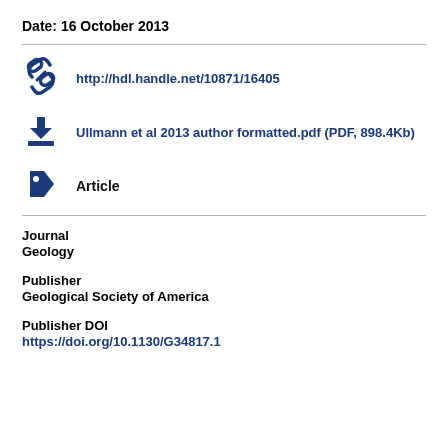Date: 16 October 2013
http://hdl.handle.net/10871/16405
Ullmann et al 2013 author formatted.pdf (PDF, 898.4Kb)
Article
Journal
Geology
Publisher
Geological Society of America
Publisher DOI
https://doi.org/10.1130/G34817.1